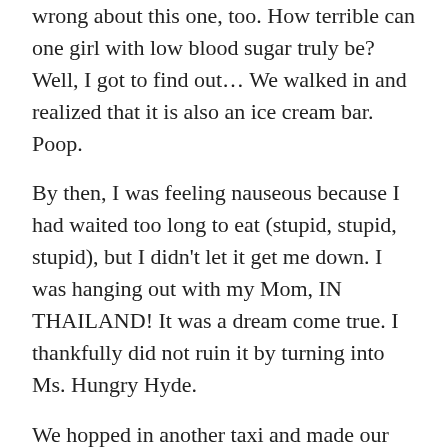wrong about this one, too. How terrible can one girl with low blood sugar truly be? Well, I got to find out… We walked in and realized that it is also an ice cream bar. Poop.
By then, I was feeling nauseous because I had waited too long to eat (stupid, stupid, stupid), but I didn't let it get me down. I was hanging out with my Mom, IN THAILAND! It was a dream come true. I thankfully did not ruin it by turning into Ms. Hungry Hyde.
We hopped in another taxi and made our way back to the mall.
12:00 pm We decided that Sizzler was a good place to eat for a yummy hamburger lunch! At first I was a little embarrassed to be eating in a Sizzler in Thailand (I guess I am a tourist though, so who cares!) and I reeled at the 389 baht ($12.33 USD) price tag for a hamburger and fries. Then I noticed that all the dine-in meals